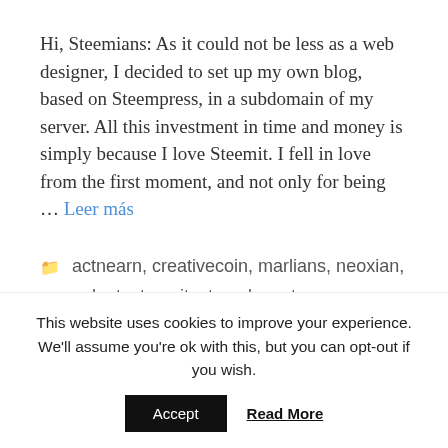Hi, Steemians: As it could not be less as a web designer, I decided to set up my own blog, based on Steempress, in a subdomain of my server. All this investment in time and money is simply because I love Steemit. I fell in love from the first moment, and not only for being … Leer más
actnearn, creativecoin, marlians, neoxian, palnet, steemit, steemleo, steempress, zzan
actnearn, creativecoin, marlians, neoxian, palnet, steemit, steemleo, steempress, zzan
Deja un comentario
This website uses cookies to improve your experience. We'll assume you're ok with this, but you can opt-out if you wish.
Accept   Read More